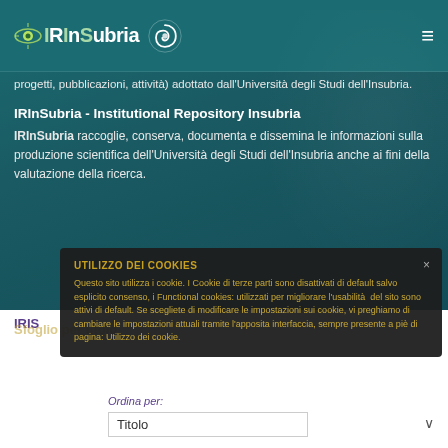[Figure (logo): IRInSubria logo with eye icon and spiral symbol]
progetti, pubblicazioni, attività) adottato dall'Università degli Studi dell'Insubria.
IRInSubria - Institutional Repository Insubria
IRInSubria raccoglie, conserva, documenta e dissemina le informazioni sulla produzione scientifica dell'Università degli Studi dell'Insubria anche ai fini della valutazione della ricerca.
IRIS
UTILIZZO DEI COOKIES
Questo sito utilizza i cookie. I Cookie di terze parti sono disattivati di default salvo esplicito consenso, i Functional cookies: utilizzati per migliorare l'usabilità del sito sono attivi di default. Se scegliete di modificare le impostazioni sui cookie, vi preghiamo di cambiare le impostazioni attuali tramite l'apposita interfaccia, sempre presente a piè di pagina: Utilizzo dei cookie.
Ordina per:
Titolo